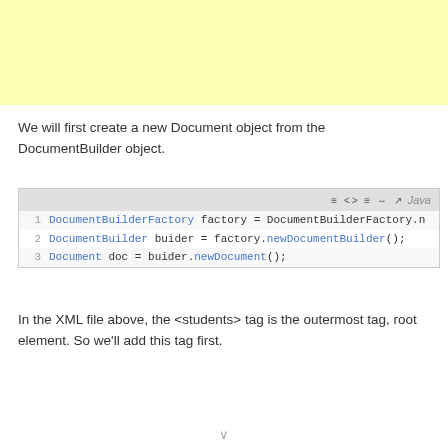[Figure (other): Yellow highlighted block at top of page]
We will first create a new Document object from the DocumentBuilder object.
[Figure (screenshot): Java code block showing 3 lines: 1) DocumentBuilderFactory factory = DocumentBuilderFactory.n... 2) DocumentBuilder buider = factory.newDocumentBuilder(); 3) Document doc = buider.newDocument();]
In the XML file above, the <students> tag is the outermost tag, root element. So we'll add this tag first.